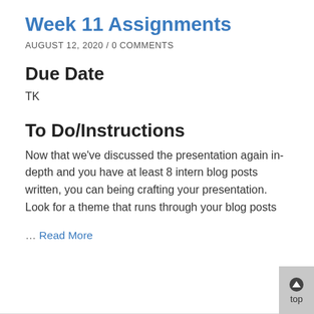Week 11 Assignments
AUGUST 12, 2020 / 0 COMMENTS
Due Date
TK
To Do/Instructions
Now that we've discussed the presentation again in-depth and you have at least 8 intern blog posts written, you can being crafting your presentation. Look for a theme that runs through your blog posts
… Read More